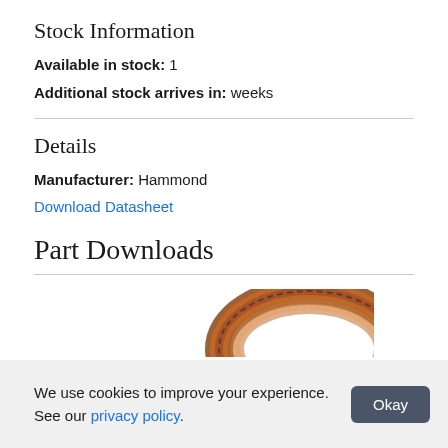Stock Information
Available in stock: 1
Additional stock arrives in: weeks
Details
Manufacturer: Hammond
Download Datasheet
Part Downloads
[Figure (photo): Partial view of a toroidal transformer or inductor component, shown as a circular ring-shaped coil with brown/copper colored winding.]
We use cookies to improve your experience. See our privacy policy.